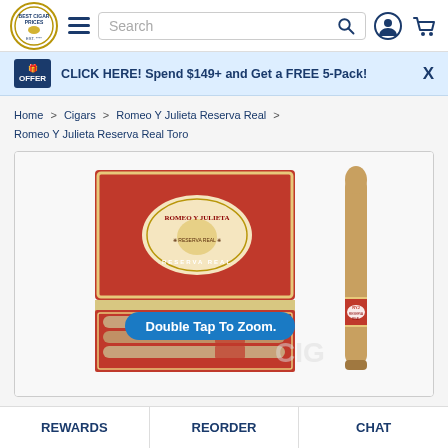Best Cigar Prices — Navigation header with logo, hamburger menu, search bar, user icon, cart icon
CLICK HERE! Spend $149+ and Get a FREE 5-Pack!
Home > Cigars > Romeo Y Julieta Reserva Real > Romeo Y Julieta Reserva Real Toro
[Figure (photo): Romeo Y Julieta Reserva Real Toro cigar box opened showing cigars, with a single cigar standing upright beside the box. A 'Double Tap To Zoom.' tooltip overlay appears on the image.]
REWARDS   REORDER   CHAT